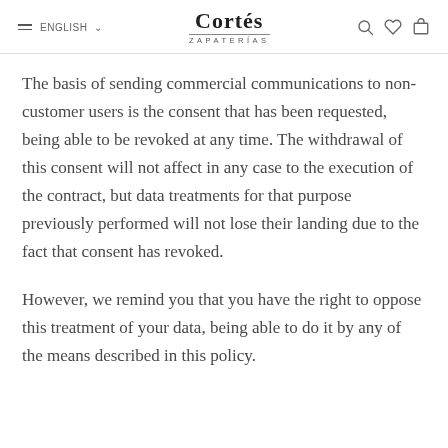ENGLISH — Cortés ZAPATERÍAS
The basis of sending commercial communications to non-customer users is the consent that has been requested, being able to be revoked at any time. The withdrawal of this consent will not affect in any case to the execution of the contract, but data treatments for that purpose previously performed will not lose their landing due to the fact that consent has revoked.
However, we remind you that you have the right to oppose this treatment of your data, being able to do it by any of the means described in this policy.